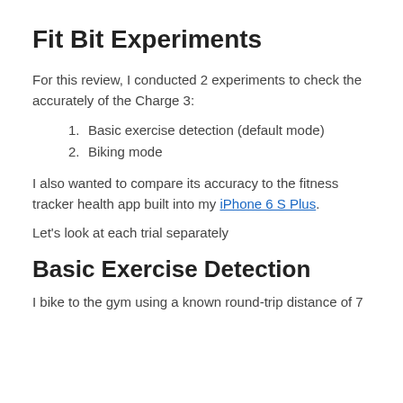Fit Bit Experiments
For this review, I conducted 2 experiments to check the accurately of the Charge 3:
1. Basic exercise detection (default mode)
2. Biking mode
I also wanted to compare its accuracy to the fitness tracker health app built into my iPhone 6 S Plus.
Let's look at each trial separately
Basic Exercise Detection
I bike to the gym using a known round-trip distance of 7